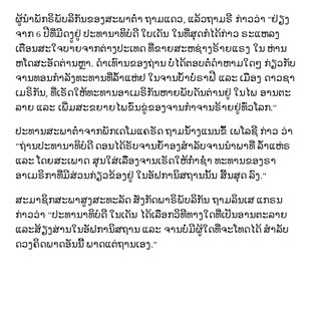ຜູ້ນຳພັກຣິພັບລິກັນຂອງສະພາຕໍ່າ ຖາມແດວ, ແລ້ວຖາມຣີ ກ່າວວ່າ "ຢ່ຽງຈາກ 6 ປີທີ່ມີດງູຢູ່ ປະທານາທິບໍດີ ໃບເດັນ ໃນທີ່ສຸດກໍໄດ້ກ່າວ ຣະແຫລງເຕືອນສະໃຈບາຍຈາກຕ່າງປະເທດ ທີ່ຂາຍສະຫຊ່າງຣ້າຍແຣງ ໃນຫ່ານຫໂດສະອັດຕ່ານຫຼາ. ດຳເທົານຂອງຖ່ານ ບໍ່ໄດ້ຕອບຕໍ່ດຳຫາມໃດໆ ກ່ຽວກັບຈານທອນກຳລັງທະທານທີ່ລ້ຳແຫ່ຢ ໃນຈານບ້ຳບໍ່ຣາຟີ ແລະ ເມືອງ ດາວຊາເມຣິກັນ, ທີ່ເຣັດໃຫ້ທະທານອາເມຣິກັນຫາຍພັບດັນຕ່ານຢູ່ ໃນໄພ ອານຕະລາຍ ແລະ ເພີ່ມສະຂຍາຍໄພຂົ່ນຂູ່ຂອງຈານກຳຈານຣ້າຍຢູ່ທົ່ວໂລກ."
ປະທານສະພາຕໍ່າຈາກພັກເດໂມແຄຣັດ ຖາມນ້ຳງແນນຂຶ້ ເພໂລຊີ ກ່າວ ວ່າ "ຖ່ານປະທານາທິບໍດີ ດອນໄດ້ຣັບຈານຍ້ຳອງສຳລັບຈານນຳພາທີ່ ລ້ຳແຫ່ຣ ແລະ ໂດຍສະເພາດ ສຸນໃສ່ເລື່ອງຈານເຣັດໃຫ້ກ່ຳຊ່ຳ ທະທານຂອງຣາອາເມຣິກາທີ່ມີສ່ວນກ່ຽວຂ້ອງຢູ່ ໃນອັຟການິສຖານນັ້ນ ສິ້ນສຸດ ລົງ."
ສະມາຊິກສະພາສູງສະທະລັດ ສັ່ງກັດພາຣິພັບລິກັນ ຖາມລິນເສ ແກຣນ ກ່າວວ່າ "ປະທານາທິບໍດີ ໃນເດັນ ໄດ້ເລືອກວິທີທາງໃດທີ່ເປັນອານຕະລາຍ ແລະສ້ຽງສ່ານໃນອັຟການິສຖານ ແລະ ຈານບໍ່ມີຜູ້ໃດທີ່ຈະໂທດໄດ້ ສຳລັບ ດວງຄິດພາດອັນນີ້ ພາດແຕ່ຖານເອງ."